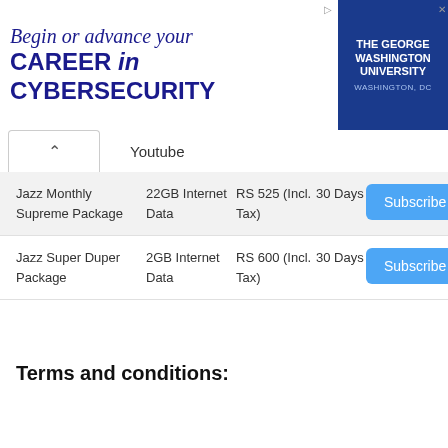[Figure (other): Advertisement banner for The George Washington University: 'Begin or advance your CAREER in CYBERSECURITY' with GWU logo on right side]
Youtube
| Package | Data | Price | Validity | Action |
| --- | --- | --- | --- | --- |
| Jazz Monthly Supreme Package | 22GB Internet Data | RS 525 (Incl. Tax) | 30 Days | Subscribe |
| Jazz Super Duper Package | 2GB Internet Data | RS 600 (Incl. Tax) | 30 Days | Subscribe |
Terms and conditions: